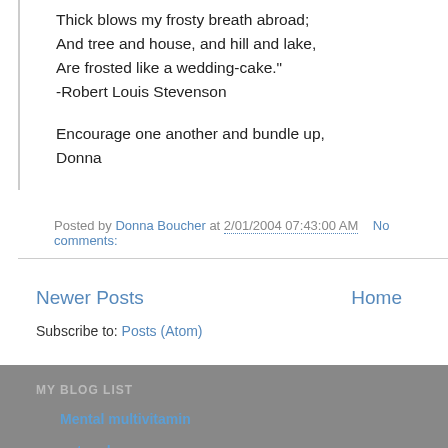Thick blows my frosty breath abroad;
And tree and house, and hill and lake,
Are frosted like a wedding-cake."
-Robert Louis Stevenson
Encourage one another and bundle up,
Donna
Posted by Donna Boucher at 2/01/2004 07:43:00 AM   No comments:
Newer Posts
Home
Subscribe to: Posts (Atom)
MY BLOG LIST
Mental multivitamin
put on love...